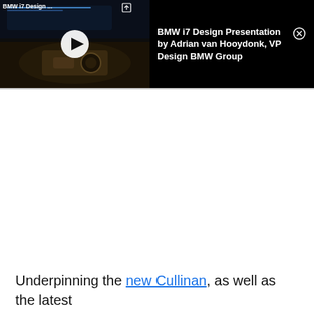[Figure (screenshot): Video banner showing BMW i7 interior design with play button overlay. Left half shows a dark car interior photo with a white circular play button. Right half shows text: 'BMW i7 Design Presentation by Adrian van Hooydonk, VP Design BMW Group' with a close (X) button.]
Underpinning the new Cullinan, as well as the latest